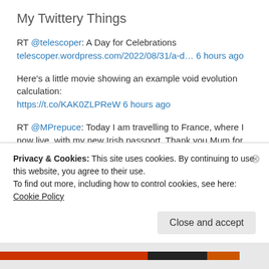My Twittery Things
RT @telescoper: A Day for Celebrations
telescoper.wordpress.com/2022/08/31/a-d… 6 hours ago
Here's a little movie showing an example void evolution calculation:
https://t.co/KAK0ZLPReW 6 hours ago
RT @MPrepuce: Today I am travelling to France, where I now live, with my new Irish passport. Thank you Mum for making me Irish. Thank you… 6 hours ago
RT @MattStrassler: The controversy concerning the claim of "detection" of the photon ring within #EHT's image of a #BlackHole continues. Sc…
Privacy & Cookies: This site uses cookies. By continuing to use this website, you agree to their use.
To find out more, including how to control cookies, see here: Cookie Policy
Close and accept